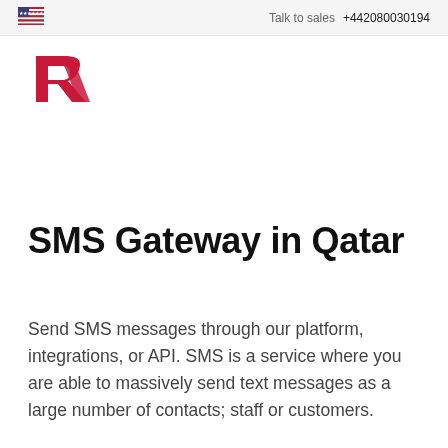Talk to sales  +442080030194
[Figure (logo): Red stylized R logo mark for a company]
SMS Gateway in Qatar
Send SMS messages through our platform, integrations, or API. SMS is a service where you are able to massively send text messages as a large number of contacts; staff or customers.